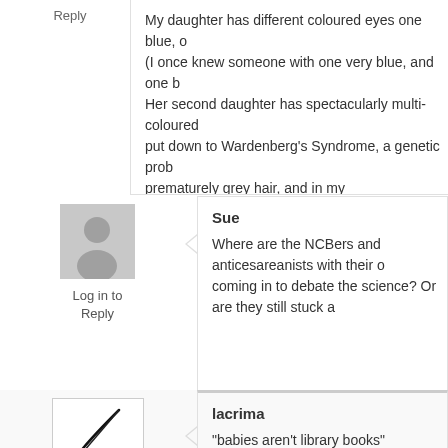Reply
My daughter has different coloured eyes one blue, o... (I once knew someone with one very blue, and one b... Her second daughter has spectacularly multi-coloured... put down to Wardenberg's Syndrome, a genetic prob... prematurely grey hair, and in my granddaughter's ca... which fortunately she is coping with very well so far.
[Figure (illustration): User avatar placeholder silhouette icon]
Log in to Reply
Sue
Where are the NCBers and anticesareanists with their o... coming in to debate the science? Or are they still stuck a...
[Figure (illustration): User avatar with a pen/feather illustration]
Log in to Reply
lacrima
“babies aren’t library books”
Most people return their books before the due date, often been lost behind the couch or used as coffee c... station or otherwise maltreated. Whenever I hear thi... ridiculously post-dates, I always get a mental picture... covered in dust bunnies.